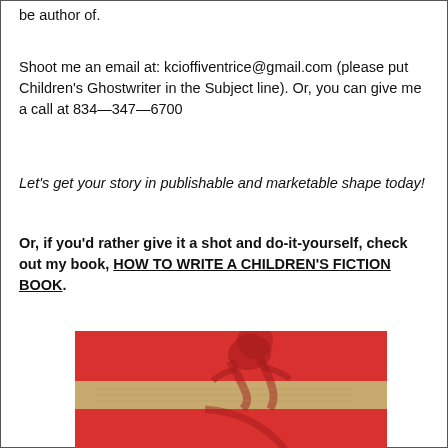be author of.
Shoot me an email at: kcioffiventrice@gmail.com (please put Children's Ghostwriter in the Subject line). Or, you can give me a call at 834—347—6700
Let's get your story in publishable and marketable shape today!
Or, if you'd rather give it a shot and do-it-yourself, check out my book, HOW TO WRITE A CHILDREN'S FICTION BOOK.
[Figure (photo): Book cover image with red and tan/beige horizontal bands, silhouette of a child figure visible through the red sections, appears to be the cover of 'How to Write a Children's Fiction Book']